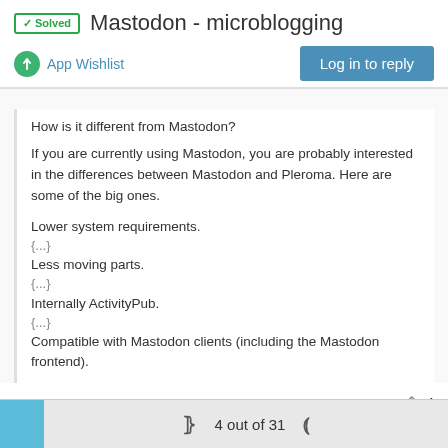✓ Solved  Mastodon - microblogging
App Wishlist
Log in to reply
How is it different from Mastodon?
If you are currently using Mastodon, you are probably interested in the differences between Mastodon and Pleroma. Here are some of the big ones.
Lower system requirements.
{...}
Less moving parts.
{...}
Internally ActivityPub.
{...}
Compatible with Mastodon clients (including the Mastodon frontend).
4 out of 31